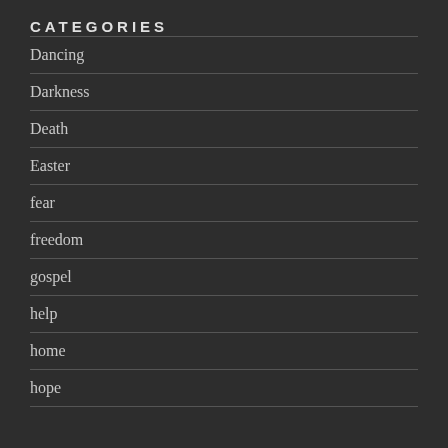CATEGORIES
Dancing
Darkness
Death
Easter
fear
freedom
gospel
help
home
hope